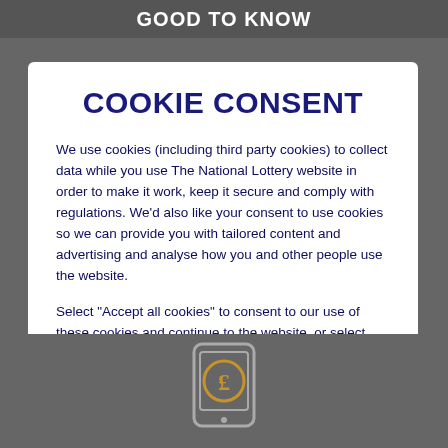GOOD TO KNOW
COOKIE CONSENT
We use cookies (including third party cookies) to collect data while you use The National Lottery website in order to make it work, keep it secure and comply with regulations. We'd also like your consent to use cookies so we can provide you with tailored content and advertising and analyse how you and other people use the website.
Select "Accept all cookies" to consent to our use of these cookies and continue to the website, or select "Manage preferences" to control which types of cookies we use. You can read more about cookies in our Cookie Policy.
ACCEPT ALL COOKIES
[Figure (illustration): Phone/mobile device icon with a pound sign (£) symbol inside, displayed in an outlined style on a grey background]